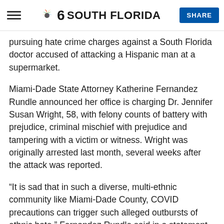NBC 6 SOUTH FLORIDA | SHARE
pursuing hate crime charges against a South Florida doctor accused of attacking a Hispanic man at a supermarket.
Miami-Dade State Attorney Katherine Fernandez Rundle announced her office is charging Dr. Jennifer Susan Wright, 58, with felony counts of battery with prejudice, criminal mischief with prejudice and tampering with a victim or witness. Wright was originally arrested last month, several weeks after the attack was reported.
“It is sad that in such a diverse, multi-ethnic community like Miami-Dade County, COVID precautions can trigger such alleged outbursts of ethnic hate,” Fernandez Rundle said in a statement. “Hate crimes are always meant to demean and intimidate their intended targets.”